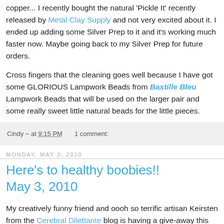copper... I recently bought the natural 'Pickle It' recently released by Metal Clay Supply and not very excited about it. I ended up adding some Silver Prep to it and it's working much faster now. Maybe going back to my Silver Prep for future orders.
Cross fingers that the cleaning goes well because I have got some GLORIOUS Lampwork Beads from Bastille Bleu Lampwork Beads that will be used on the larger pair and some really sweet little natural beads for the little pieces.
Cindy ~ at 9:15 PM   1 comment:
Monday, May 3, 2010
Here's to healthy boobies!! May 3, 2010
My creatively funny friend and oooh so terrific artisan Keirsten from the Cerebral Dilettante blog is having a give-away this week! In honor of her first ever mamogram and the